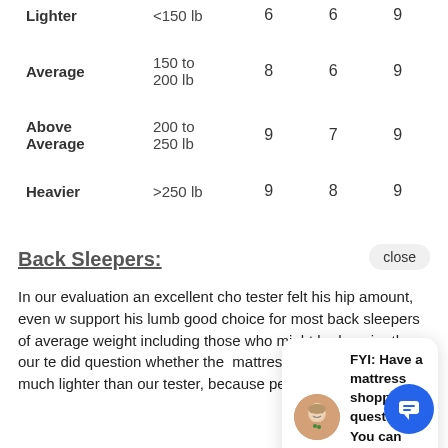|  | Weight | Col1 | Col2 | Col3 |
| --- | --- | --- | --- | --- |
| Lighter | <150 lb | 6 | 6 | 9 |
| Average | 150 to 200 lb | 8 | 6 | 9 |
| Above Average | 200 to 250 lb | 9 | 7 | 9 |
| Heavier | >250 lb | 9 | 8 | 9 |
Back Sleepers:
In our evaluation an excellent cho tester felt his hip amount, even w support his lumb good choice for most back sleepers of average weight including those who might be heavier than our te did question whether the mattress might be too fi those much lighter than our tester, because persons
[Figure (other): Chat popup with avatar and text: FYI: Have a mattress shopping question? You can text us here.]